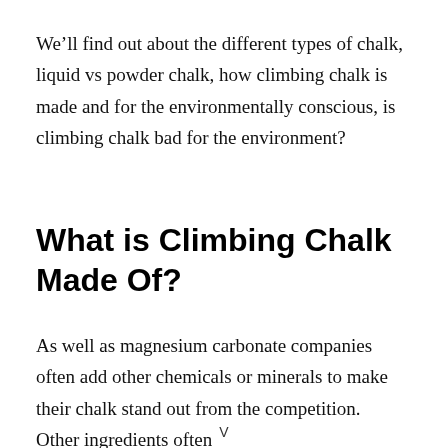We'll find out about the different types of chalk, liquid vs powder chalk, how climbing chalk is made and for the environmentally conscious, is climbing chalk bad for the environment?
What is Climbing Chalk Made Of?
As well as magnesium carbonate companies often add other chemicals or minerals to make their chalk stand out from the competition.  Other ingredients often
V